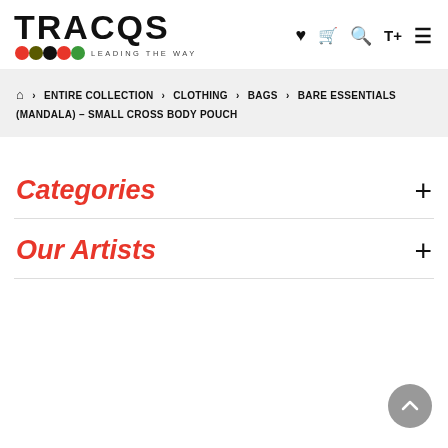[Figure (logo): TRACQS logo with colored dots and tagline LEADING THE WAY]
♥ 🛒 🔍 T+ ≡ (navigation icons)
🏠 > ENTIRE COLLECTION > CLOTHING > BAGS > BARE ESSENTIALS (MANDALA) – SMALL CROSS BODY POUCH
Categories +
Our Artists +